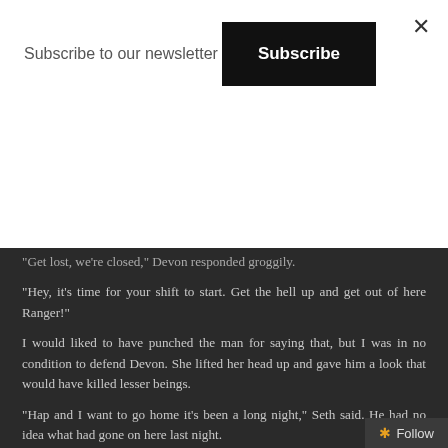Subscribe to our newsletter
Subscribe
"Get lost, we're closed," Devon responded groggily.
"Hey, it's time for your shift to start. Get the hell up and get out of here Ranger!"
I would liked to have punched the man for saying that, but I was in no condition to defend Devon. She lifted her head up and gave him a look that would have killed lesser beings.
"Hap and I want to go home it's been a long night," Seth said. He had no idea what had gone on here last night.
Devon pushed herself off the bar, patted me on the shoulder and stumbled out the door. Her android teetered after her ready to catch her if she stumbled on the way out. Doc came over and tended to my wound. He said it was nothing serious and that I'd be back to work soon enough.